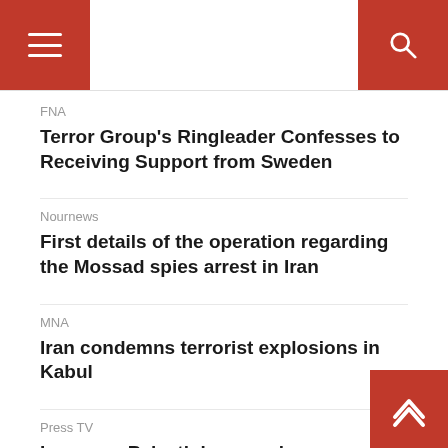FNA
Terror Group's Ringleader Confesses to Receiving Support from Sweden
Nournews
First details of the operation regarding the Mossad spies arrest in Iran
MNA
Iran condemns terrorist explosions in Kabul
Press TV
Iran says Palestinian people, groups reserve right to respond to Israel's terrorist moves
Habilian